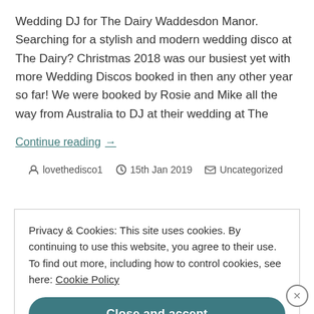Wedding DJ for The Dairy Waddesdon Manor. Searching for a stylish and modern wedding disco at The Dairy? Christmas 2018 was our busiest yet with more Wedding Discos booked in then any other year so far! We were booked by Rosie and Mike all the way from Australia to DJ at their wedding at The
Continue reading →
lovethedisco1   15th Jan 2019   Uncategorized
Privacy & Cookies: This site uses cookies. By continuing to use this website, you agree to their use. To find out more, including how to control cookies, see here: Cookie Policy
Close and accept